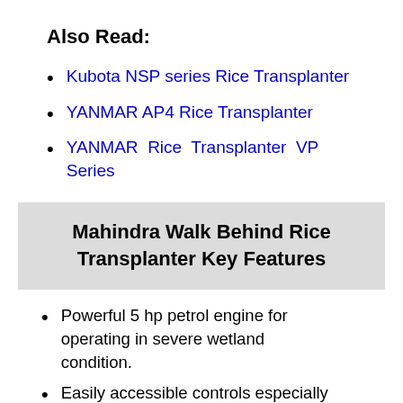Also Read:
Kubota NSP series Rice Transplanter
YANMAR AP4 Rice Transplanter
YANMAR Rice Transplanter VP Series
Mahindra Walk Behind Rice Transplanter Key Features
Powerful 5 hp petrol engine for operating in severe wetland condition.
Easily accessible controls especially